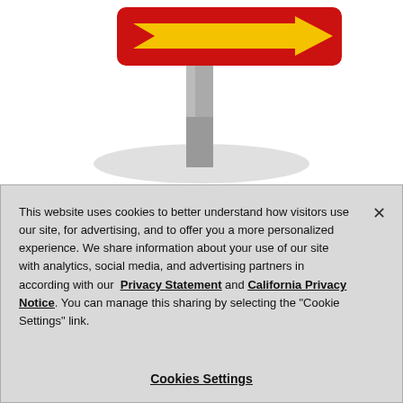[Figure (illustration): A red road sign with a yellow right-pointing arrow on a grey metal post, with a grey elliptical shadow base on white background]
This website uses cookies to better understand how visitors use our site, for advertising, and to offer you a more personalized experience. We share information about your use of our site with analytics, social media, and advertising partners in according with our Privacy Statement and California Privacy Notice. You can manage this sharing by selecting the "Cookie Settings" link.
Cookies Settings